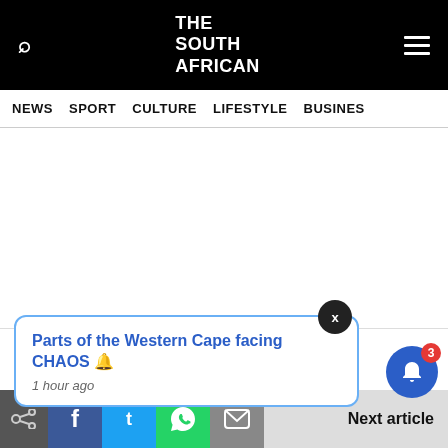THE SOUTH AFRICAN
NEWS  SPORT  CULTURE  LIFESTYLE  BUSINESS
Parts of the Western Cape facing CHAOS 🔔
1 hour ago
Next article